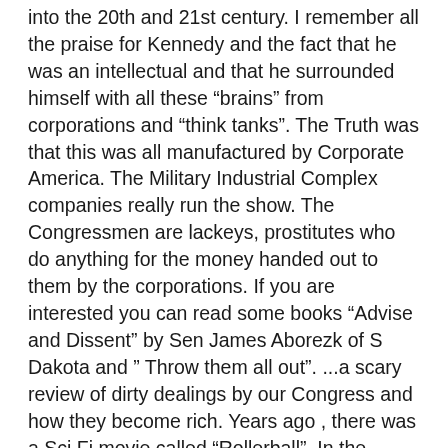into the 20th and 21st century. I remember all the praise for Kennedy and the fact that he was an intellectual and that he surrounded himself with all these “brains” from corporations and “think tanks”. The Truth was that this was all manufactured by Corporate America. The Military Industrial Complex companies really run the show. The Congressmen are lackeys, prostitutes who do anything for the money handed out to them by the corporations. If you are interested you can read some books “Advise and Dissent” by Sen James Aborezk of S Dakota and ” Throw them all out”. ...a scary review of dirty dealings by our Congress and how they become rich. Years ago , there was a Sci Fi movie called “Rollerball”. In the future of the movie ( see the first one with James Caan, not the remake), gov’ts have failed and corporations run the world. We are getting to that Sci Fi treatment. Corporations rattle sabers, and every one gets scared. This just makes politicians “ do something” and spend BILLIONS on new war toys so the Military industrial Complex gets richer... WW1 and WW2 made BILLIONS for many